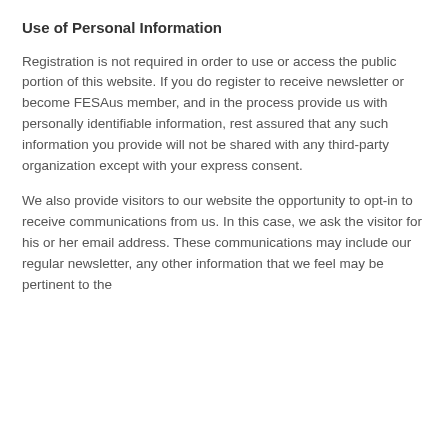Use of Personal Information
Registration is not required in order to use or access the public portion of this website. If you do register to receive newsletter or become FESAus member, and in the process provide us with personally identifiable information, rest assured that any such information you provide will not be shared with any third-party organization except with your express consent.
We also provide visitors to our website the opportunity to opt-in to receive communications from us. In this case, we ask the visitor for his or her email address. These communications may include our regular newsletter, any other information that we feel may be pertinent to the